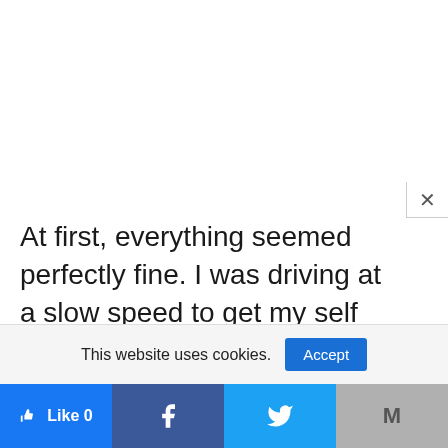At first, everything seemed perfectly fine. I was driving at a slow speed to get my self acquainted with the environment. Then, I hit the gas and increased my speed. So far, so good. Finally, I revved into a higher gear and here came the discomfort. I can't fully explain the feeling that I experienced, but it wasn't pleasant. What ended up making it worse was the turns. Remember you
This website uses cookies.
Accept
Like 0 | Facebook | Twitter | Gmail